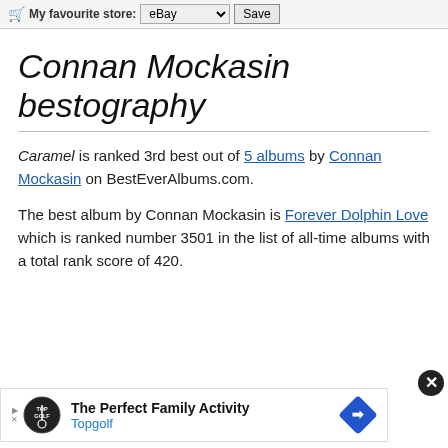My favourite store: eBay   Save
Connan Mockasin bestography
Caramel is ranked 3rd best out of 5 albums by Connan Mockasin on BestEverAlbums.com.
The best album by Connan Mockasin is Forever Dolphin Love which is ranked number 3501 in the list of all-time albums with a total rank score of 420.
[Figure (other): Advertisement banner for Topgolf: 'The Perfect Family Activity' with Topgolf logo and a blue diamond direction sign icon.]